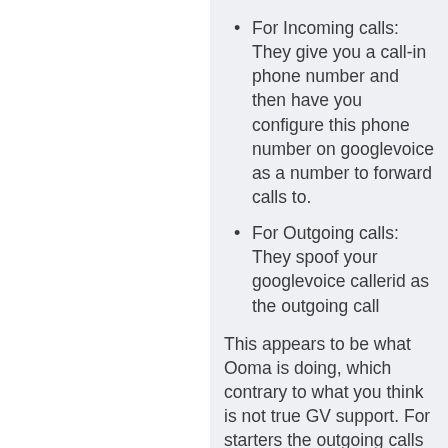For Incoming calls: They give you a call-in phone number and then have you configure this phone number on googlevoice as a number to forward calls to.
For Outgoing calls: They spoof your googlevoice callerid as the outgoing call
This appears to be what Ooma is doing, which contrary to what you think is not true GV support. For starters the outgoing calls will never show up in googlevoice. But for practically 99% of users, this is a non-issue
Currently there is no device that I have seen that natively supports the Google Hangouts protocol other than the device Google announced to break into the videoconference market.
Now that we cleared up how they are achieving googlevoice support after May